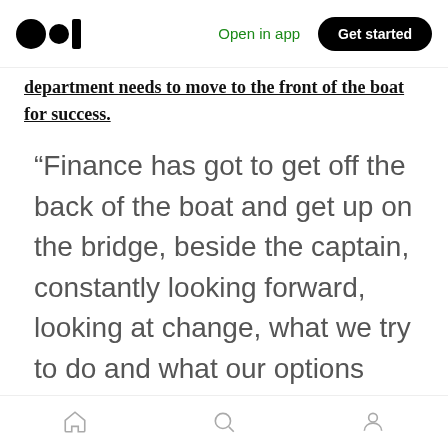Medium app header with logo, Open in app, Get started
department needs to move to the front of the boat for success.
“Finance has got to get off the back of the boat and get up on the bridge, beside the captain, constantly looking forward, looking at change, what we try to do and what our options are. That’s where
Home | Search | Profile